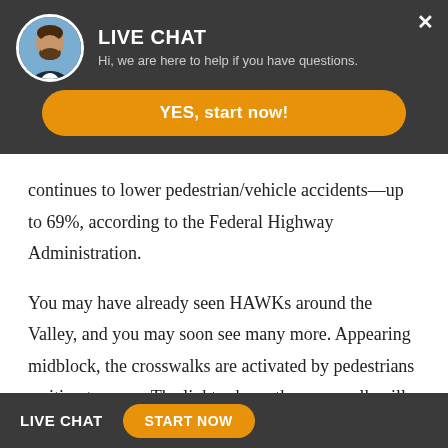[Figure (screenshot): Live chat widget overlay with avatar photo of bearded man in suit, LIVE CHAT title, subtitle text, and orange YES start now button]
continues to lower pedestrian/vehicle accidents—up to 69%, according to the Federal Highway Administration.
You may have already seen HAWKs around the Valley, and you may soon see many more. Appearing midblock, the crosswalks are activated by pedestrians waiting to cross. The lights above the crosswalk will turn yellow
LIVE CHAT   START NOW